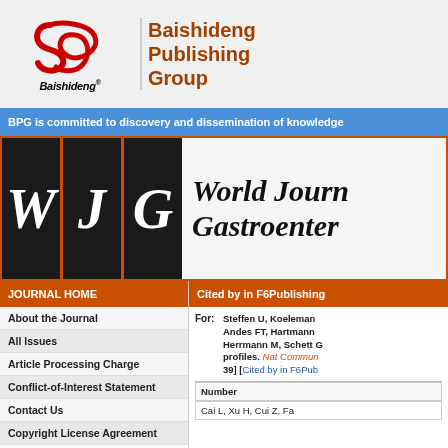[Figure (logo): Baishideng Publishing Group logo with red stylized B icon and text]
Baishideng Publishing Group
BPG is committed to discovery and dissemination of knowledge
[Figure (logo): World Journal of Gastroenterology logo with WJG letters in dark boxes and italic serif title text]
JOURNAL HOME
Cited by in F6Publishing
About the Journal
All Issues
Article Processing Charge
Conflict-of-Interest Statement
Contact Us
Copyright License Agreement
For: Steffen U, Koeleman Andes FT, Hartmann Herrmann M, Schett G profiles. Nat Commun 39] [Cited by in F6Pub
| Number |
| --- |
| Cai L, Xu H, Cui Z, Fa |